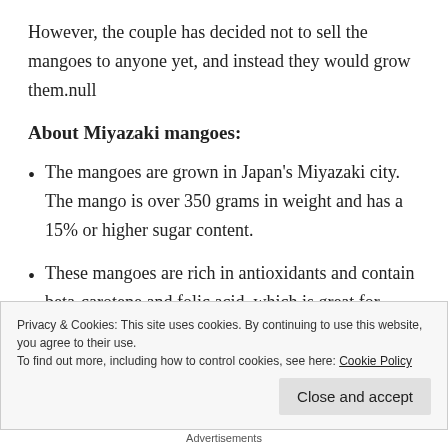However, the couple has decided not to sell the mangoes to anyone yet, and instead they would grow them.null
About Miyazaki mangoes:
The mangoes are grown in Japan’s Miyazaki city. The mango is over 350 grams in weight and has a 15% or higher sugar content.
These mangoes are rich in antioxidants and contain beta-carotene and folic acid, which is great for
Privacy & Cookies: This site uses cookies. By continuing to use this website, you agree to their use.
To find out more, including how to control cookies, see here: Cookie Policy
Close and accept